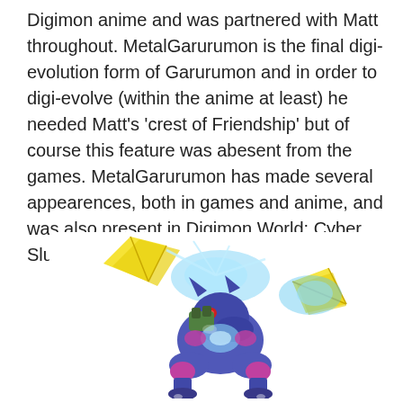Digimon anime and was partnered with Matt throughout. MetalGarurumon is the final digi-evolution form of Garurumon and in order to digi-evolve (within the anime at least) he needed Matt's 'crest of Friendship' but of course this feature was abesent from the games. MetalGarurumon has made several appearences, both in games and anime, and was also present in Digimon World: Cyber Slueth.
[Figure (illustration): Illustration of MetalGarurumon, a mechanical wolf-like Digimon in blue/purple armor with yellow wing-like protrusions and glowing blue energy effects, in an action pose.]